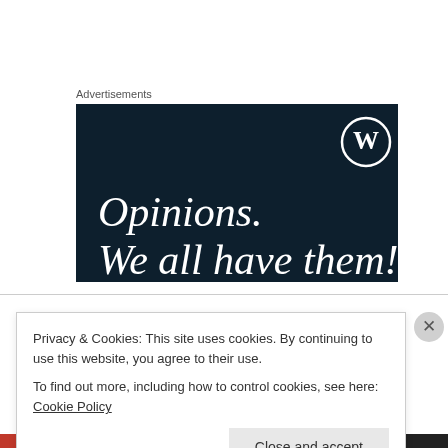Advertisements
[Figure (screenshot): WordPress advertisement banner with dark navy background showing WordPress logo (W in circle), text 'Opinions.' in large italic serif font, and partial text 'We all have them!' below]
Sam on September 5, 2013 at 4:25 pm
We just followed you in your camper from
Privacy & Cookies: This site uses cookies. By continuing to use this website, you agree to their use.
To find out more, including how to control cookies, see here: Cookie Policy
Close and accept